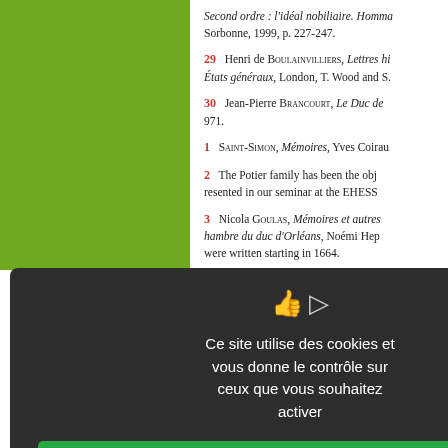Second ordre : l'idéal nobiliaire. Homma Sorbonne, 1999, p. 227-247.
29  Henri de Boulainvilliers, Lettres hi États généraux, London, T. Wood and S.
30  Jean-Pierre Brancourt, Le Duc de 971.
1  Saint-Simon, Mémoires, Yves Coirau
2  The Potier family has been the obj resented in our seminar at the EHESS
3  Nicola Goulas, Mémoires et autres hambre du duc d'Orléans, Noémi Hep were written starting in 1664.
4  Hervé Drévillon, L'Impôt du sang. 005, p. 311.
5  Robert Descimon, « Élites parisienne itres », Bibliothèque de l'École des cha
6  Françoise Bibolet, Les Institutions n issertation for the École nationale des
[Figure (screenshot): Cookie consent modal dialog with dark background showing 'Ce site utilise des cookies et vous donne le contrôle sur ceux que vous souhaitez activer' with three buttons: Tout accepter (green), Tout refuser (red), Personnaliser (white), and a Politique de confidentialité link.]